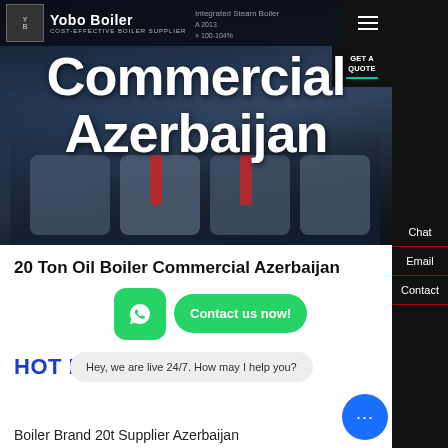[Figure (screenshot): Website hero banner showing industrial boilers with overlaid large white text 'Commercial Azerbaijan' on dark background. Header contains logo 'Yobo Boiler' with tagline 'COST-EFFECTIVE BOILER SUPPLIER', a GET A QUOTE button, and hamburger menu icon.]
Yobo Boiler | COST-EFFECTIVE BOILER SUPPLIER
Commercial Azerbaijan
20 Ton Oil Boiler Commercial Azerbaijan
HOT NEWS
Hey, we are live 24/7. How may I help you?
Boiler Brand 20t Supplier Azerbaijan